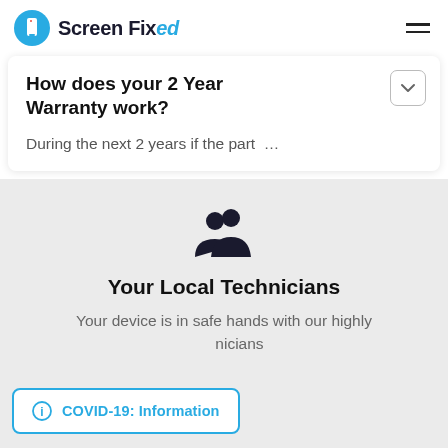Screen Fixed
How does your 2 Year Warranty work?
During the next 2 years if the part …
[Figure (illustration): Group of two people icon (technicians silhouette)]
Your Local Technicians
Your device is in safe hands with our highly … nicians
COVID-19: Information